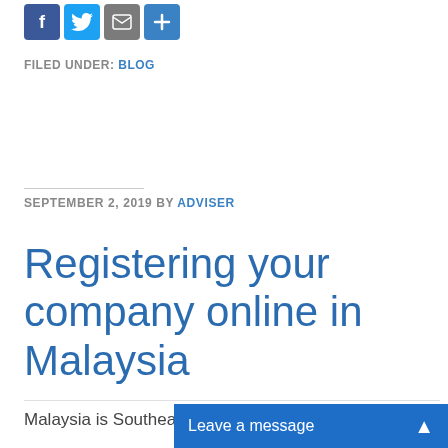[Figure (other): Social share icons: Facebook (blue), Twitter (light blue), Email (grey), Plus/share (blue)]
FILED UNDER: BLOG
SEPTEMBER 2, 2019 BY ADVISER
Registering your company online in Malaysia
Malaysia is Southeas…
Leave a message